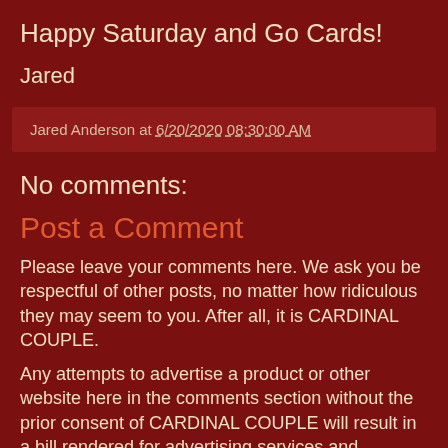Happy Saturday and Go Cards!
Jared
Jared Anderson at 6/20/2020 08:30:00 AM
No comments:
Post a Comment
Please leave your comments here. We ask you be respectful of other posts, no matter how ridiculous they may seem to you. After all, it is CARDINAL COUPLE.
Any attempts to advertise a product or other website here in the comments section without the prior consent of CARDINAL COUPLE will result in a bill rendered for advertising services and possible legal action. We're serious. No more b...